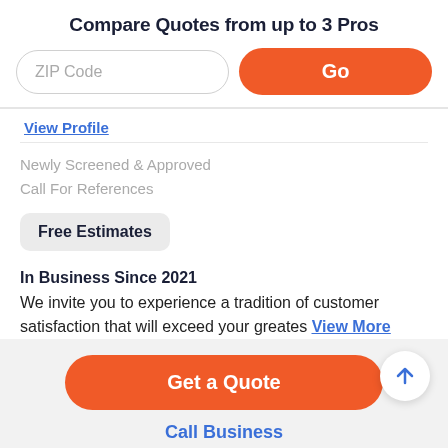Compare Quotes from up to 3 Pros
ZIP Code
Go
View Profile
Newly Screened & Approved
Call For References
Free Estimates
In Business Since 2021
We invite you to experience a tradition of customer satisfaction that will exceed your greates View More
Get a Quote
Call Business